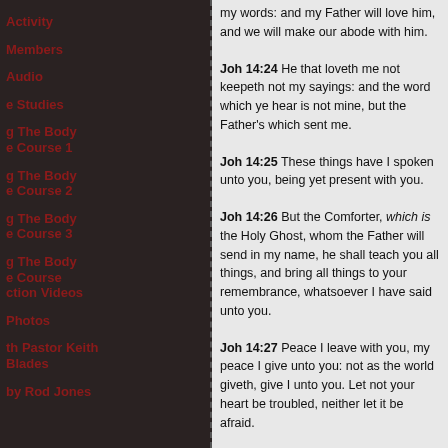Activity
Members
Audio
e Studies
g The Body e Course 1
g The Body e Course 2
g The Body e Course 3
g The Body e Course ction Videos
Photos
th Pastor Keith Blades
by Rod Jones
my words: and my Father will love him, and we will make our abode with him.
Joh 14:24 He that loveth me not keepeth not my sayings: and the word which ye hear is not mine, but the Father's which sent me.
Joh 14:25 These things have I spoken unto you, being yet present with you.
Joh 14:26 But the Comforter, which is the Holy Ghost, whom the Father will send in my name, he shall teach you all things, and bring all things to your remembrance, whatsoever I have said unto you.
Joh 14:27 Peace I leave with you, my peace I give unto you: not as the world giveth, give I unto you. Let not your heart be troubled, neither let it be afraid.